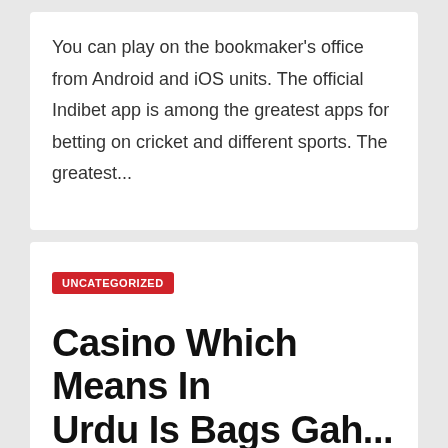You can play on the bookmaker's office from Android and iOS units. The official Indibet app is among the greatest apps for betting on cricket and different sports. The greatest...
UNCATEGORIZED
Casino Which Means In Urdu Is Bage Gah...
APR 2, 2022   ADMIN
It is straightforward simply put the roman word in the given box and click on on the translate button then